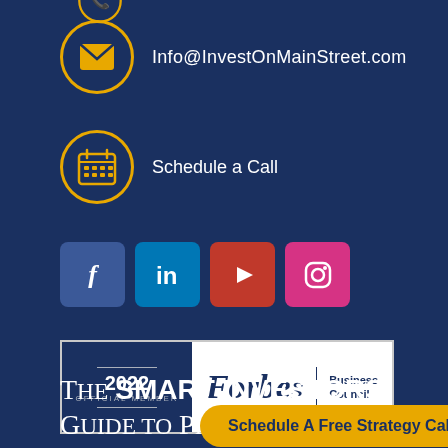[Figure (illustration): Partial phone/call icon in gold circle at top, partially cut off]
Info@InvestOnMainStreet.com
Schedule a Call
[Figure (illustration): Social media icons row: Facebook, LinkedIn, YouTube, Instagram]
[Figure (logo): Forbes Business Council 2022 Official Member badge]
The SMART INVESTORS GUIDE TO...
Schedule A Free Strategy Call